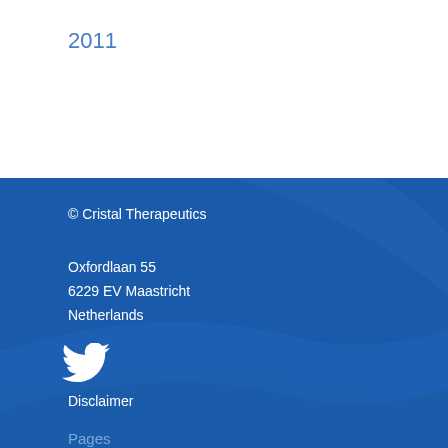2011
© Cristal Therapeutics
Oxfordlaan 55
6229 EV Maastricht
Netherlands
[Figure (logo): Twitter bird icon in white]
Disclaimer
Pages
CriPec® technology platform
Home
News